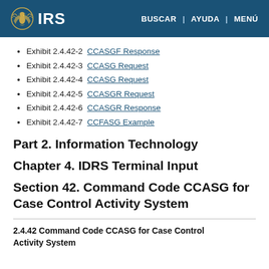IRS | BUSCAR | AYUDA | MENÚ
Exhibit 2.4.42-2 CCASGF Response
Exhibit 2.4.42-3 CCASG Request
Exhibit 2.4.42-4 CCASG Request
Exhibit 2.4.42-5 CCASGR Request
Exhibit 2.4.42-6 CCASGR Response
Exhibit 2.4.42-7 CCFASG Example
Part 2. Information Technology
Chapter 4. IDRS Terminal Input
Section 42. Command Code CCASG for Case Control Activity System
2.4.42 Command Code CCASG for Case Control Activity System